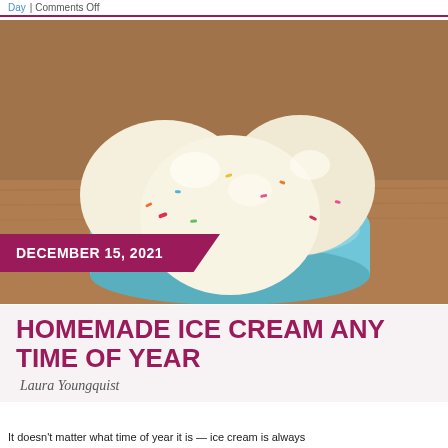Day | Comments Off
[Figure (photo): A blue bowl filled with scoops of vanilla funfetti ice cream with colorful sprinkles, on a wooden surface]
DECEMBER 15, 2021
HOMEMADE ICE CREAM ANY TIME OF YEAR
Laura Youngquist
It doesn't matter what time of year it is — ice cream is always